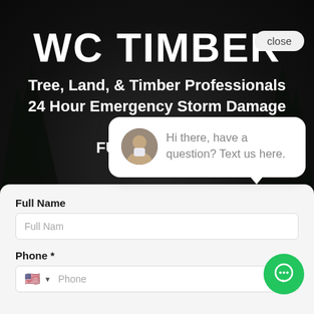WC TIMBER
Tree, Land, & Timber Professionals
24 Hour Emergency Storm Damage Service
FULLY INSURED
[Figure (screenshot): Chat widget popup showing avatar and message 'Hi there, have a question? Text us here.' with a close button, overlaid on a contact form with Full Name and Phone fields, and a green chat button in the bottom right corner.]